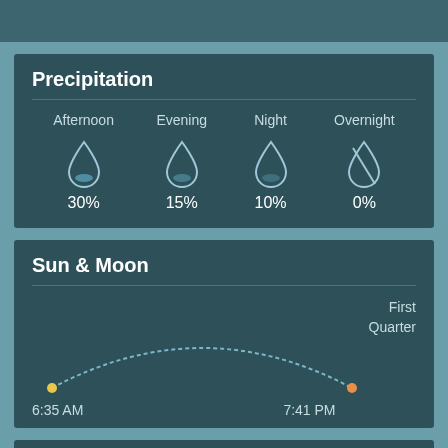Precipitation
| Afternoon | Evening | Night | Overnight |
| --- | --- | --- | --- |
| 30% | 15% | 10% | 0% |
Sun & Moon
6:35 AM   7:41 PM
First Quarter
Wind & Pressure